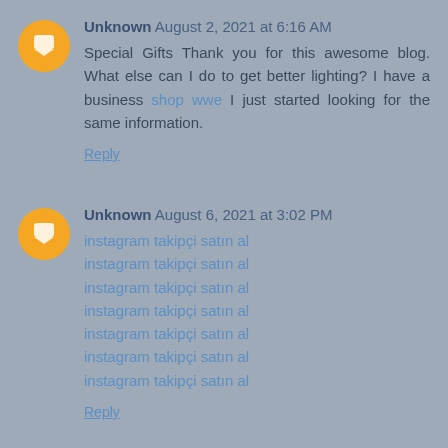Unknown August 2, 2021 at 6:16 AM
Special Gifts Thank you for this awesome blog. What else can I do to get better lighting? I have a business shop wwe I just started looking for the same information.
Reply
Unknown August 6, 2021 at 3:02 PM
instagram takipçi satın al
instagram takipçi satın al
instagram takipçi satın al
instagram takipçi satın al
instagram takipçi satın al
instagram takipçi satın al
instagram takipçi satın al
Reply
james August 10, 2021 at 7:44 AM